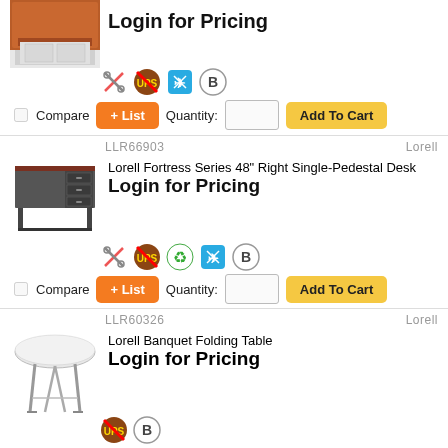[Figure (photo): Partial image of a mahogany desk (top cropped), product 1]
Login for Pricing
[Figure (infographic): Row of shipping/service icons: wrench, UPS no-ship, ship-it, B circle]
Compare  + List  Quantity:  Add To Cart
LLR66903    Lorell
[Figure (photo): Lorell Fortress Series 48 inch Right Single-Pedestal Desk, dark steel with mahogany top]
Lorell Fortress Series 48" Right Single-Pedestal Desk
Login for Pricing
[Figure (infographic): Row of shipping/service icons: wrench, UPS no-ship, recycle, ship-it, B circle]
Compare  + List  Quantity:  Add To Cart
LLR60326    Lorell
[Figure (photo): Lorell Banquet Folding Table, round white top with silver legs]
Lorell Banquet Folding Table
Login for Pricing
[Figure (infographic): Row of icons: UPS no-ship, B circle (partially visible at bottom)]